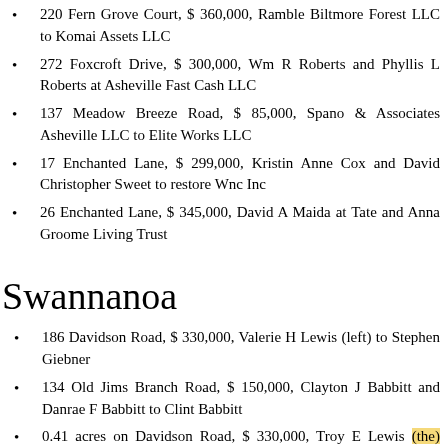220 Fern Grove Court, $ 360,000, Ramble Biltmore Forest LLC to Komai Assets LLC
272 Foxcroft Drive, $ 300,000, Wm R Roberts and Phyllis L Roberts at Asheville Fast Cash LLC
137 Meadow Breeze Road, $ 85,000, Spano & Associates Asheville LLC to Elite Works LLC
17 Enchanted Lane, $ 299,000, Kristin Anne Cox and David Christopher Sweet to restore Wnc Inc
26 Enchanted Lane, $ 345,000, David A Maida at Tate and Anna Groome Living Trust
Swannanoa
186 Davidson Road, $ 330,000, Valerie H Lewis (left) to Stephen Giebner
134 Old Jims Branch Road, $ 150,000, Clayton J Babbitt and Danrae F Babbitt to Clint Babbitt
0.41 acres on Davidson Road, $ 330,000, Troy E Lewis (the) Valeria H Lewis to Stephen Giebner